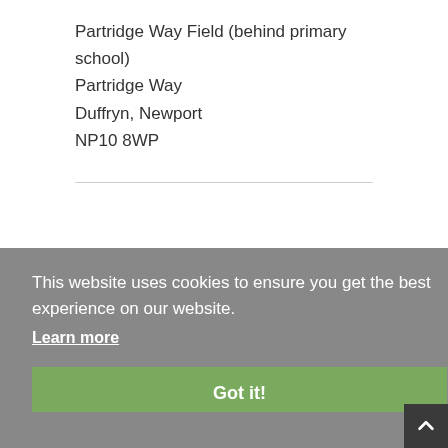Partridge Way Field (behind primary school)
Partridge Way
Duffryn, Newport
NP10 8WP
This website uses cookies to ensure you get the best experience on our website.
Learn more
Got it!